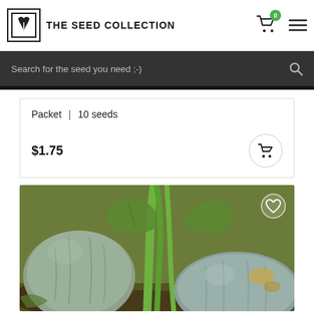THE SEED COLLECTION
Search for the seed you need ;-)
Packet | 10 seeds
$1.75
[Figure (photo): Close-up photo of large grey-green pumpkins growing in a garden with green vines and stems visible]
heart/wishlist icon overlay on product image